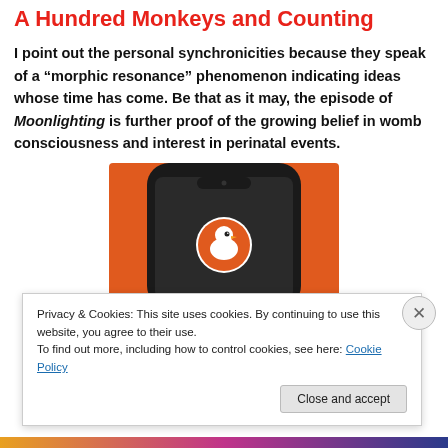A Hundred Monkeys and Counting
I point out the personal synchronicities because they speak of a “morphic resonance” phenomenon indicating ideas whose time has come. Be that as it may, the episode of Moonlighting is further proof of the growing belief in womb consciousness and interest in perinatal events.
[Figure (screenshot): A smartphone displaying the DuckDuckGo app logo (white duck in orange circle) on a dark phone body against an orange background.]
Privacy & Cookies: This site uses cookies. By continuing to use this website, you agree to their use.
To find out more, including how to control cookies, see here: Cookie Policy
Close and accept